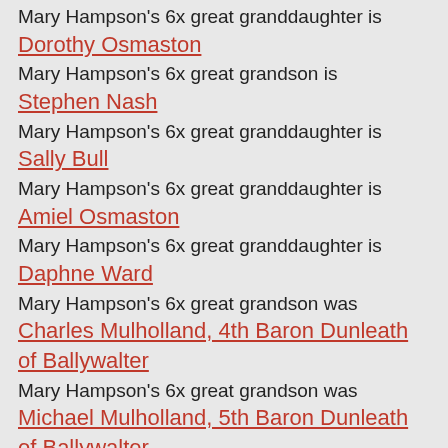Mary Hampson's 6x great granddaughter is Dorothy Osmaston
Mary Hampson's 6x great grandson is Stephen Nash
Mary Hampson's 6x great granddaughter is Sally Bull
Mary Hampson's 6x great granddaughter is Amiel Osmaston
Mary Hampson's 6x great granddaughter is Daphne Ward
Mary Hampson's 6x great grandson was Charles Mulholland, 4th Baron Dunleath of Ballywalter
Mary Hampson's 6x great grandson was Michael Mulholland, 5th Baron Dunleath of Ballywalter